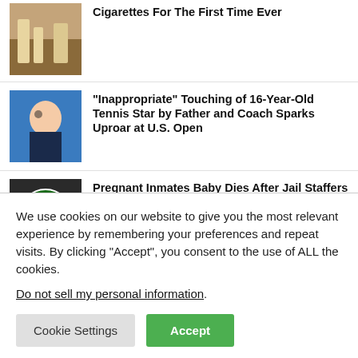Cigarettes For The First Time Ever
[Figure (photo): Close-up photo of hands with cigarettes and tobacco]
“Inappropriate” Touching of 16-Year-Old Tennis Star by Father and Coach Sparks Uproar at U.S. Open
[Figure (photo): Young female tennis player in action on court]
Pregnant Inmates Baby Dies After Jail Staffers Allegedly Stopped At Starbucks Instead of Going To Hospital
[Figure (photo): Starbucks storefront with green logo]
We use cookies on our website to give you the most relevant experience by remembering your preferences and repeat visits. By clicking “Accept”, you consent to the use of ALL the cookies.
Do not sell my personal information.
Cookie Settings | Accept